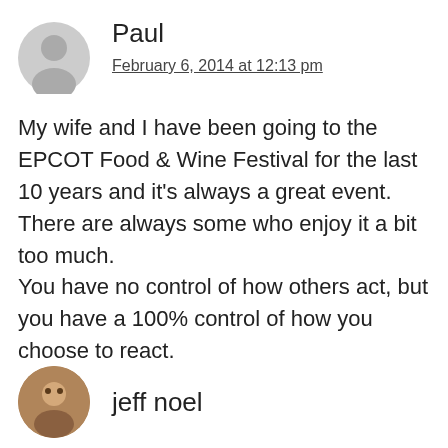[Figure (illustration): Generic grey user avatar icon (silhouette of a person)]
Paul
February 6, 2014 at 12:13 pm
My wife and I have been going to the EPCOT Food & Wine Festival for the last 10 years and it's always a great event. There are always some who enjoy it a bit too much.
You have no control of how others act, but you have a 100% control of how you choose to react.
[Figure (photo): Small circular photo of jeff noel]
jeff noel